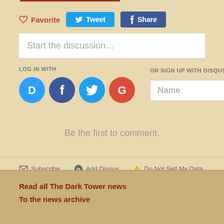[Figure (screenshot): Social action buttons: heart Favorite, Tweet button (blue), Share button (dark blue/Facebook)]
[Figure (screenshot): Disqus comment widget with 'Start the discussion...' text box, LOG IN WITH social icons (Disqus, Facebook, Twitter, Google), OR SIGN UP WITH DISQUS area with Name field, and 'Be the first to comment.' placeholder text]
[Figure (screenshot): Bottom bar of Disqus widget with Subscribe, Add Disqus, and Do Not Sell My Data options]
Read all The Dark Tower news
To the news archive